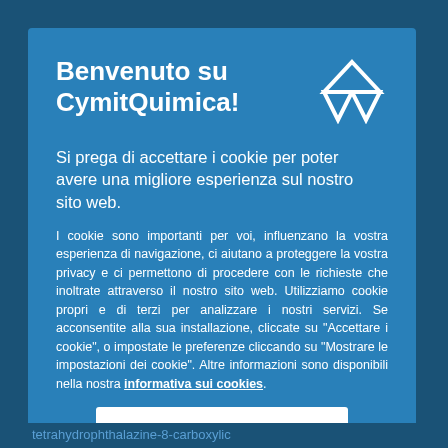Benvenuto su CymitQuimica!
Si prega di accettare i cookie per poter avere una migliore esperienza sul nostro sito web.
I cookie sono importanti per voi, influenzano la vostra esperienza di navigazione, ci aiutano a proteggere la vostra privacy e ci permettono di procedere con le richieste che inoltrate attraverso il nostro sito web. Utilizziamo cookie propri e di terzi per analizzare i nostri servizi. Se acconsentite alla sua installazione, cliccate su "Accettare i cookie", o impostate le preferenze cliccando su "Mostrare le impostazioni dei cookie". Altre informazioni sono disponibili nella nostra informativa sui cookies.
Accettare i cookie
tetrahydrophthalazine-8-carboxylic